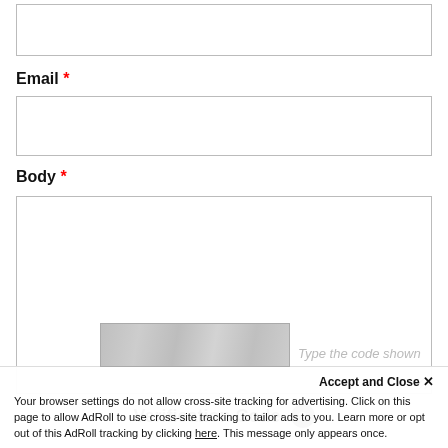Email *
Body *
Verification Code
Type the code shown
Accept and Close ✕
Your browser settings do not allow cross-site tracking for advertising. Click on this page to allow AdRoll to use cross-site tracking to tailor ads to you. Learn more or opt out of this AdRoll tracking by clicking here. This message only appears once.